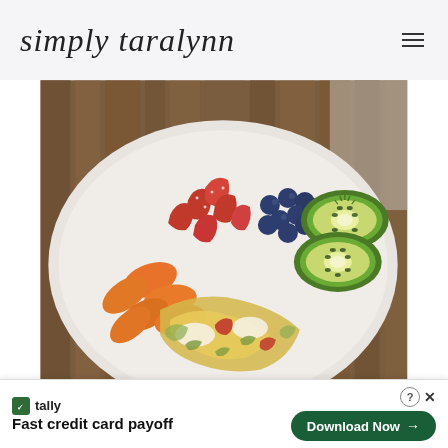simply taralynn
[Figure (photo): A white plate filled with fresh fruit including strawberries, blueberries, kiwi slices, and mandarin orange segments, along with scrambled eggs mixed with vegetables, set on a wooden background.]
We didn't end up going to the gym later in the morning...
[Figure (screenshot): Advertisement banner for Tally app: 'Fast credit card payoff' with a 'Download Now' button.]